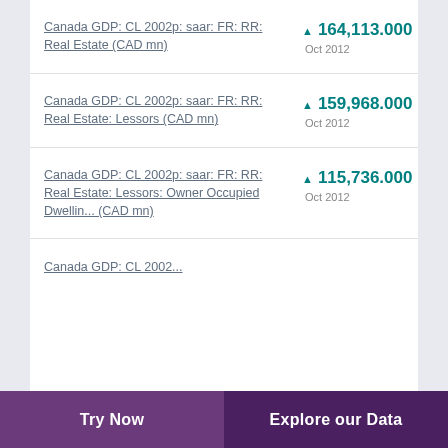Canada GDP: CL 2002p: saar: FR: RR: Real Estate (CAD mn) ▲ 164,113.000 Oct 2012
Canada GDP: CL 2002p: saar: FR: RR: Real Estate: Lessors (CAD mn) ▲ 159,968.000 Oct 2012
Canada GDP: CL 2002p: saar: FR: RR: Real Estate: Lessors: Owner Occupied Dwellin... (CAD mn) ▲ 115,736.000 Oct 2012
Canada GDP: CL 2002...
Try Now   Explore our Data